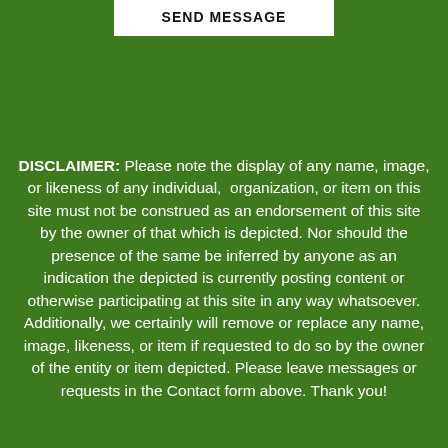[Figure (other): SEND MESSAGE button — white rectangle with bold black text 'SEND MESSAGE' at the top of the page]
DISCLAIMER: Please note the display of any name, image, or likeness of any individual,  organization, or item on this site must not be construed as an endorsement of this site by the owner of that which is depicted. Nor should the presence of the same be inferred by anyone as an indication the depicted is currently posting content or otherwise participating at this site in any way whatsoever. Additionally, we certainly will remove or replace any name, image, likeness, or item if requested to do so by the owner of the entity or item depicted. Please leave messages or requests in the Contact form above. Thank you!